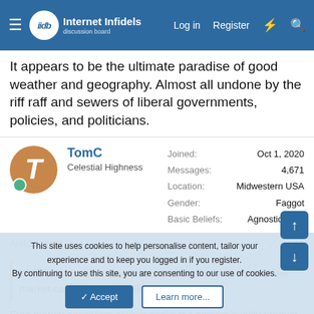Internet Infidels — Log in | Register
It appears to be the ultimate paradise of good weather and geography. Almost all undone by the riff raff and sewers of liberal governments, policies, and politicians.
TomC
Celestial Highness
Joined: Oct 1, 2020
Messages: 4,671
Location: Midwestern USA
Gender: Faggot
Basic Beliefs: Agnostic deist
Aug 22, 2021  #45
Then you do not understand capitalism. At least not the free market capitalism I'm familiar with.

Free market capitalism always seeks the highest quality product for
This site uses cookies to help personalise content, tailor your experience and to keep you logged in if you register.
By continuing to use this site, you are consenting to our use of cookies.